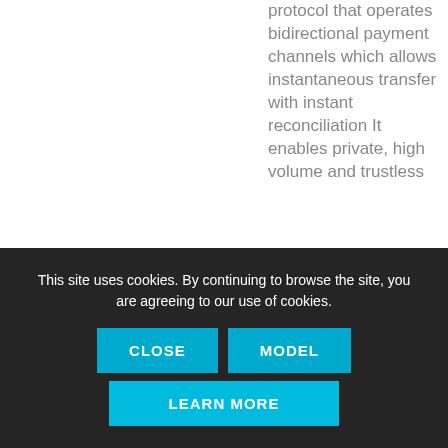protocol that operates bidirectional payment channels which allows instantaneous transfer with instant reconciliation It enables private, high volume and trustless transactions
This site uses cookies. By continuing to browse the site, you are agreeing to our use of cookies.
CLOSE
MODEL
LEARN MORE